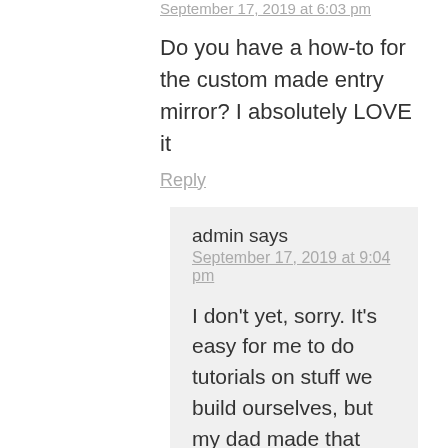September 17, 2019 at 6:03 pm
Do you have a how-to for the custom made entry mirror? I absolutely LOVE it
Reply
admin says
September 17, 2019 at 9:04 pm
I don't yet, sorry. It's easy for me to do tutorials on stuff we build ourselves, but my dad made that piece so it's something I'd have to sit down with him to get the process on. I will probably go back and do these after we're done the basement.